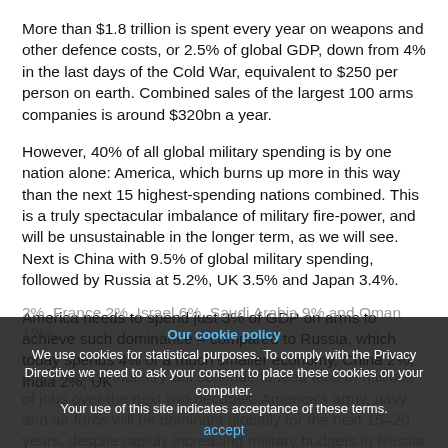More than $1.8 trillion is spent every year on weapons and other defence costs, or 2.5% of global GDP, down from 4% in the last days of the Cold War, equivalent to $250 per person on earth. Combined sales of the largest 100 arms companies is around $320bn a year.
However, 40% of all global military spending is by one nation alone: America, which burns up more in this way than the next 15 highest-spending nations combined. This is a truly spectacular imbalance of military fire-power, and will be unsustainable in the longer term, as we will see. Next is China with 9.5% of global military spending, followed by Russia at 5.2%, UK 3.5% and Japan 3.4%.
America needs to spend just 3% of GDP on arms to achieve such dominance – compared to Russia, which today spends 4% of a much smaller economy, China 2%, India 2%, UK 2%, France 2%, Israel 6%, Saudi Arabia 9% and Oman 12%.
The defence industry will continue to feed tens of millions of jobs over the next two decades. America's army, navy and air force will be dominant globally for the next 15–20 years, despite rapidly increasing military budgets in Russia and China.